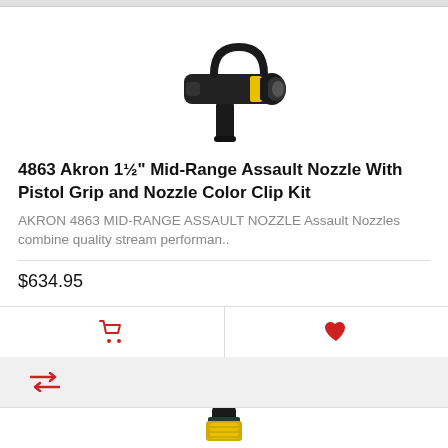[Figure (photo): Black pistol grip fire nozzle (Akron assault nozzle) with yellow accent ring, viewed from the side]
4863 Akron 1½" Mid-Range Assault Nozzle With Pistol Grip and Nozzle Color Clip Kit
AKRON 4863 MID-RANGE ASSAULT NOZZLE Assault Nozzles combine quality stream performan..
$634.95
[Figure (photo): Bottom portion of a second product listing showing a black and yellow nozzle fitting]